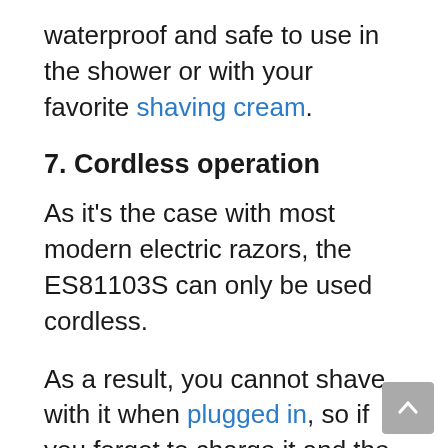waterproof and safe to use in the shower or with your favorite shaving cream.
7. Cordless operation
As it's the case with most modern electric razors, the ES81103S can only be used cordless.
As a result, you cannot shave with it when plugged in, so if you forgot to charge it and the battery is dead this may come as a downside.